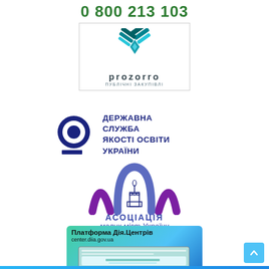0 800 213 103
[Figure (logo): ProZorro Публічні Закупівлі logo — geometric teal/blue shapes above text 'prozorro' and 'ПУБЛІЧНІ ЗАКУПІВЛІ']
[Figure (logo): Державна служба якості освіти України logo — blue circle with inner white ring and blue rectangle, text 'ДЕРЖАВНА СЛУЖБА ЯКОСТІ ОСВІТИ УКРАЇНИ']
[Figure (logo): Асоціація малих міст України logo — stylized blue arch with monument inside, text 'АСОЦІАЦІЯ' and 'малих міст України']
[Figure (screenshot): Платформа Дія.Центрів banner with URL center.diia.gov.ua and screenshot of a laptop showing the platform website on a green-blue gradient background]
[Figure (other): Light blue scroll-to-top button with upward chevron arrow in bottom right corner]